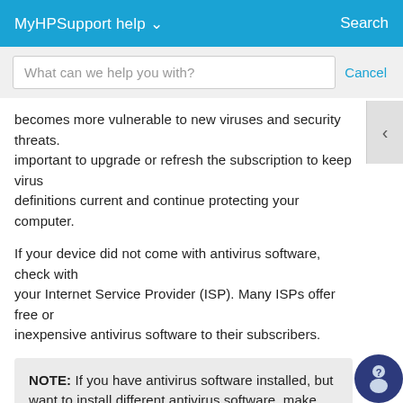MyHPSupport help ∨   Search
What can we help you with?   Cancel
becomes more vulnerable to new viruses and security threats. important to upgrade or refresh the subscription to keep virus definitions current and continue protecting your computer.
If your device did not come with antivirus software, check with your Internet Service Provider (ISP). Many ISPs offer free or inexpensive antivirus software to their subscribers.
NOTE: If you have antivirus software installed, but want to install different antivirus software, make sure to remove the old antivirus software before installing new software. Having multiple programs installed might make the computer slow, erratic, and potentially unprotected.
Step 5: Update antivirus software